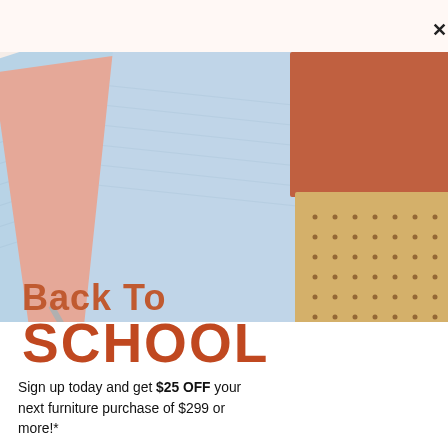[Figure (illustration): Top notification bar with spiral/ring binding decoration pattern repeating across the top, and an X close button on the right.]
[Figure (photo): Back to school promotional image showing overlapping notebooks/notepads in pastel blue, peach/salmon, light blue, terracotta/rust, and a tan dotted notebook, arranged on a white background with geometric overlapping composition.]
Back To SCHOOL
Sign up today and get $25 OFF your next furniture purchase of $299 or more!*